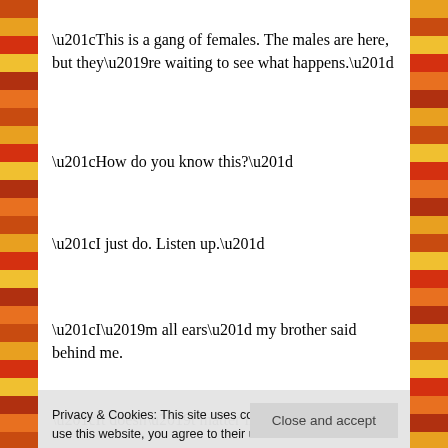“This is a gang of females. The males are here, but they’re waiting to see what happens.”
“How do you know this?”
“I just do. Listen up.”
“I’m all ears” my brother said behind me.
“It doesn’t matter if you get the right… I don’t”
Privacy & Cookies: This site uses cookies. By continuing to use this website, you agree to their use.
To find out more, including how to control cookies, see here: Cookie Policy
of it. The females seem to not have this ability which is